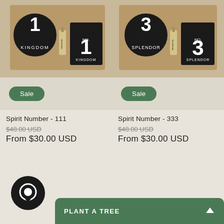[Figure (photo): Product photo of Spirit Number 111 gift box with circular tin labeled No. 1 Kingdom, small oil bottle, and square card labeled No. 1 Kingdom. Green Sale badge overlay.]
Spirit Number - 111
$48.00 USD
From $30.00 USD
[Figure (photo): Product photo of Spirit Number 333 gift box with circular tin labeled No. 3 Splendor, small oil bottle, and square card labeled No. 3 Splendor. Green Sale badge overlay.]
Spirit Number - 333
$48.00 USD
From $30.00 USD
[Figure (illustration): Chat bubble icon — dark circular button with speech bubble symbol]
PLANT A TREE